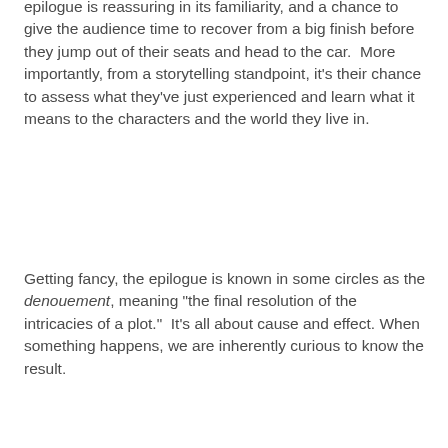epilogue is reassuring in its familiarity, and a chance to give the audience time to recover from a big finish before they jump out of their seats and head to the car.  More importantly, from a storytelling standpoint, it's their chance to assess what they've just experienced and learn what it means to the characters and the world they live in.
Getting fancy, the epilogue is known in some circles as the denouement, meaning "the final resolution of the intricacies of a plot."  It's all about cause and effect. When something happens, we are inherently curious to know the result.
The epilogue is exactly where you'll see the other end of the character arc our hero's been through. With that in mind, you're doing yourself a favor if you anticipate what an ideal epilogue for your story would be, and put the means in place as you write everything that precedes.
Some authors dismiss the epilogue as being too cliché. However, bringing a story to an abrupt ending without providing the aftermath is like taking the reader on a journey and not giving them a ride back.